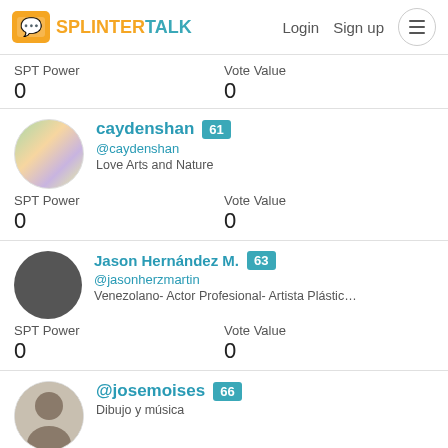SPLINTERTALK — Login  Sign up
SPT Power: 0   Vote Value: 0
caydenshan 61 @caydenshan Love Arts and Nature SPT Power 0 Vote Value 0
Jason Hernández M. 63 @jasonherzmartin Venezolano- Actor Profesional- Artista Plástico. "Creando un u… SPT Power 0 Vote Value 0
@josemoises 66 Dibujo y música SPT Power Vote Value